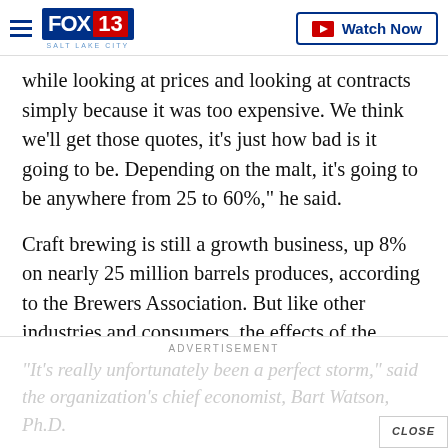FOX 13 SALT LAKE CITY — Watch Now
while looking at prices and looking at contracts simply because it was too expensive. We think we'll get those quotes, it's just how bad is it going to be. Depending on the malt, it's going to be anywhere from 25 to 60%," he said.
Craft brewing is still a growth business, up 8% on nearly 25 million barrels produces, according to the Brewers Association. But like other industries and consumers, the effects of the supply chain and inflation are a focus.
"It's really unfortunately been a perfect storm," said the organization's chief economist, Bart Watson, Ph.D.